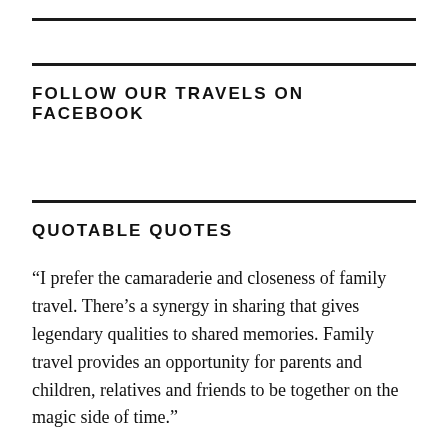FOLLOW OUR TRAVELS ON FACEBOOK
QUOTABLE QUOTES
“I prefer the camaraderie and closeness of family travel. There’s a synergy in sharing that gives legendary qualities to shared memories. Family travel provides an opportunity for parents and children, relatives and friends to be together on the magic side of time.”